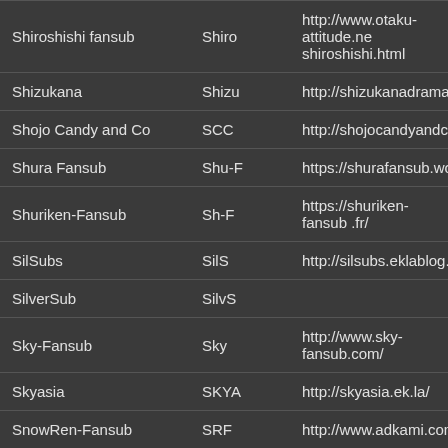| Name | Abbreviation | URL |
| --- | --- | --- |
| Shiroshishi fansub | Shiro | http://www.otaku-attitude.ne shiroshishi.html |
| Shizukana | Shizu | http://shizukanadramavostf |
| Shojo Candy and Co | SCC | http://shojocandyandco.blo |
| Shura Fansub | Shu-F | https://shurafansub.wordpre |
| Shuriken-Fansub | Sh-F | https://shuriken-fansub .fr/ |
| SilSubs | SilS | http://silsubs.eklablog.com/ |
| SilverSub | SilvS |  |
| Sky-Fansub | Sky | http://www.sky-fansub.com/ |
| Skyasia | SKYA | http://skyasia.ek.la/ |
| SnowRen-Fansub | SRF | http://www.adkami.com/tea |
| SnowSubs | SnowS | https://snowsubs.moe/ |
| Soai No Naka | SnN | http://www.soai-no-naka.fr/ |
| Soba Fansub | Soba | http://sobafansub.skyrock.c |